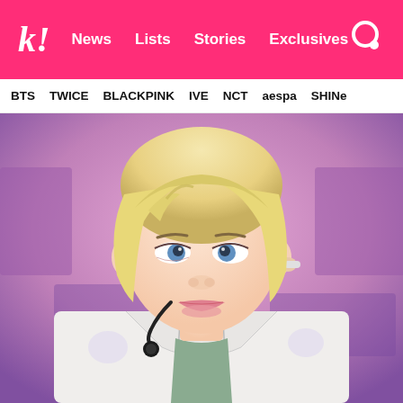k! News Lists Stories Exclusives
BTS TWICE BLACKPINK IVE NCT aespa SHINee
[Figure (photo): Close-up photo of a male K-pop performer with platinum blonde hair, wearing a white patterned jacket over a sage green top with a silver chain necklace, performing with a black microphone headset, blurred pink/purple background]